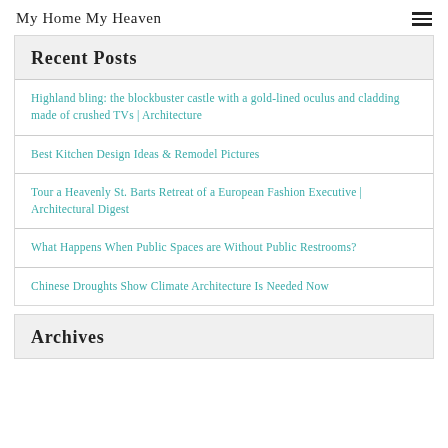My Home My Heaven
Recent Posts
Highland bling: the blockbuster castle with a gold-lined oculus and cladding made of crushed TVs | Architecture
Best Kitchen Design Ideas & Remodel Pictures
Tour a Heavenly St. Barts Retreat of a European Fashion Executive | Architectural Digest
What Happens When Public Spaces are Without Public Restrooms?
Chinese Droughts Show Climate Architecture Is Needed Now
Archives